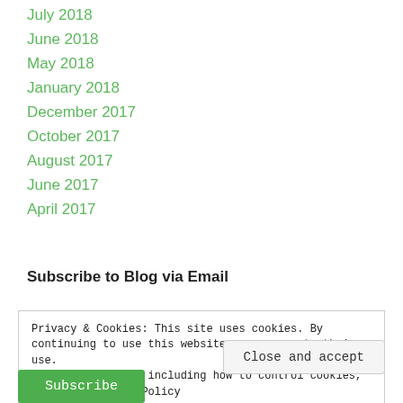July 2018
June 2018
May 2018
January 2018
December 2017
October 2017
August 2017
June 2017
April 2017
Subscribe to Blog via Email
Privacy & Cookies: This site uses cookies. By continuing to use this website, you agree to their use.
To find out more, including how to control cookies, see here: Cookie Policy
Close and accept
Subscribe